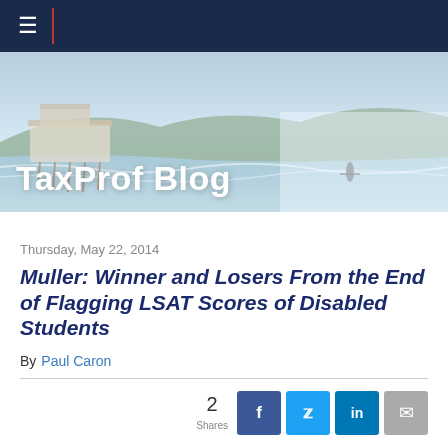TaxProf Blog
Thursday, May 22, 2014
Muller: Winner and Losers From the End of Flagging LSAT Scores of Disabled Students
By Paul Caron
2 Shares
Following up on yesterday's post, DOJ Enters $7.7 Million